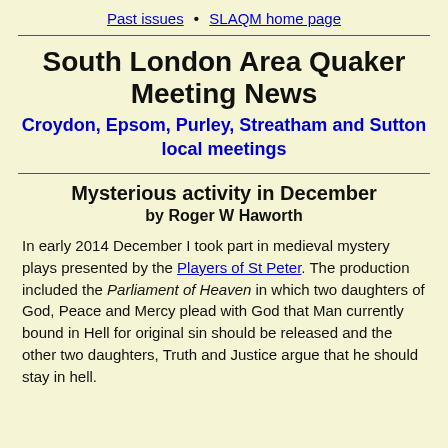Past issues • SLAQM home page
South London Area Quaker Meeting News
Croydon, Epsom, Purley, Streatham and Sutton local meetings
Mysterious activity in December
by Roger W Haworth
In early 2014 December I took part in medieval mystery plays presented by the Players of St Peter. The production included the Parliament of Heaven in which two daughters of God, Peace and Mercy plead with God that Man currently bound in Hell for original sin should be released and the other two daughters, Truth and Justice argue that he should stay in hell.